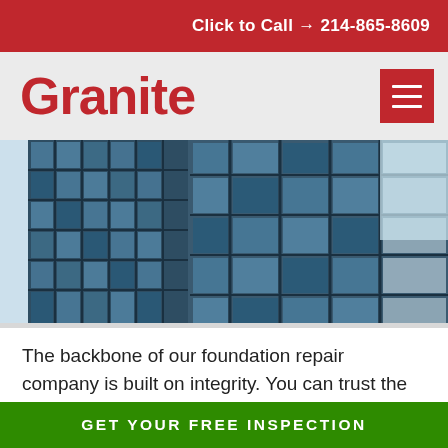Click to Call → 214-865-8609
Granite
[Figure (photo): Looking up at a modern glass office building with blue-tinted windows and steel frames against a pale sky.]
The backbone of our foundation repair company is built on integrity. You can trust the outcome of our foundation repair work. We strive to prevent delays and prioritize the seamless operation of your apartment even under tough conditions. We equally respect and
GET YOUR FREE INSPECTION